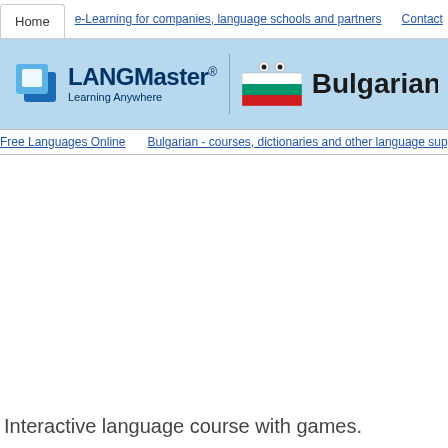Home | e-Learning for companies, language schools and partners | Contact
[Figure (logo): LANGMaster logo with blue squares icon and text 'LANGMaster® Learning Anywhere' on light blue background, alongside Bulgarian flag and 'Bulgarian for Beginners' title]
Free Languages Online | Bulgarian - courses, dictionaries and other language supplements
Interactive language course with games.